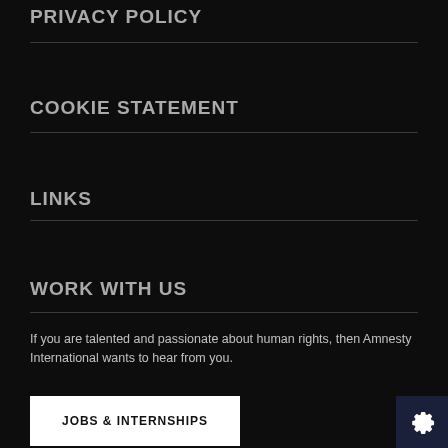PRIVACY POLICY
COOKIE STATEMENT
LINKS
WORK WITH US
If you are talented and passionate about human rights, then Amnesty International wants to hear from you.
JOBS & INTERNSHIPS